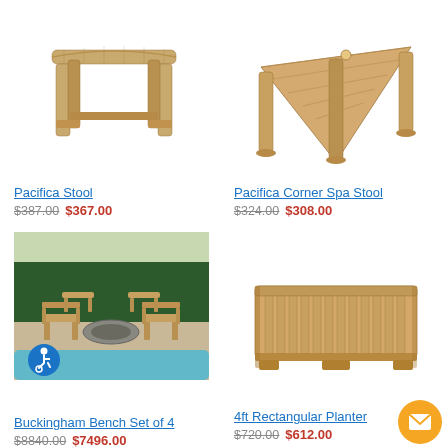[Figure (photo): Pacifica Stool - a wooden teak stool with curved seat and straight legs on white background]
Pacifica Stool
$387.00 $367.00
[Figure (photo): Pacifica Corner Spa Stool - a triangular teak corner stool on white background]
Pacifica Corner Spa Stool
$324.00 $308.00
[Figure (photo): Buckingham Bench Set of 4 - four teak benches arranged around a stone fire pit beside a pool in an outdoor garden setting]
Buckingham Bench Set of 4
$8840.00 $7496.00
[Figure (photo): 4ft Rectangular Planter - a teak wood rectangular planter box with slatted sides on white background]
4ft Rectangular Planter
$720.00 $612.00